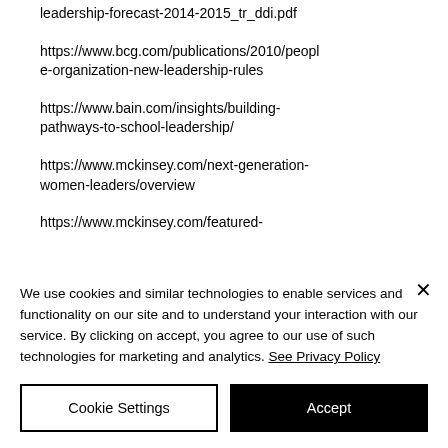leadership-forecast-2014-2015_tr_ddi.pdf
https://www.bcg.com/publications/2010/people-organization-new-leadership-rules
https://www.bain.com/insights/building-pathways-to-school-leadership/
https://www.mckinsey.com/next-generation-women-leaders/overview
https://www.mckinsey.com/featured-
We use cookies and similar technologies to enable services and functionality on our site and to understand your interaction with our service. By clicking on accept, you agree to our use of such technologies for marketing and analytics. See Privacy Policy
Cookie Settings
Accept